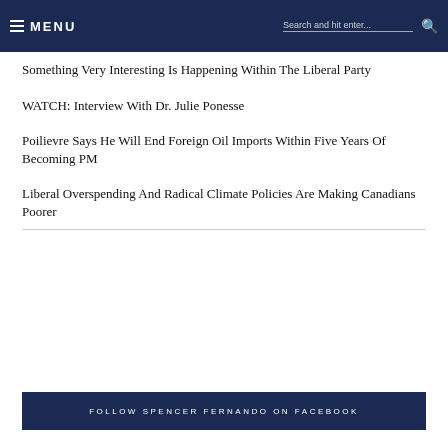MENU | Search and hit enter...
Something Very Interesting Is Happening Within The Liberal Party
WATCH: Interview With Dr. Julie Ponesse
Poilievre Says He Will End Foreign Oil Imports Within Five Years Of Becoming PM
Liberal Overspending And Radical Climate Policies Are Making Canadians Poorer
FOLLOW SPENCER FERNANDO ON FACEBOOK